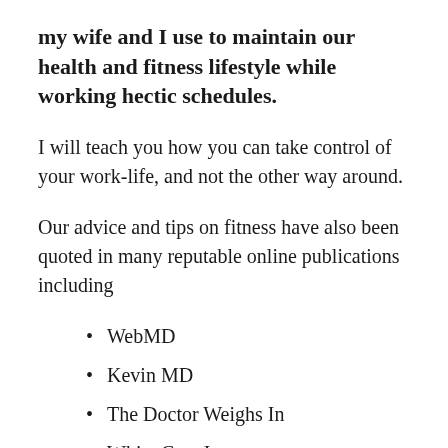my wife and I use to maintain our health and fitness lifestyle while working hectic schedules.
I will teach you how you can take control of your work-life, and not the other way around.
Our advice and tips on fitness have also been quoted in many reputable online publications including
WebMD
Kevin MD
The Doctor Weighs In
White Coat Investor
My Fitness Pal